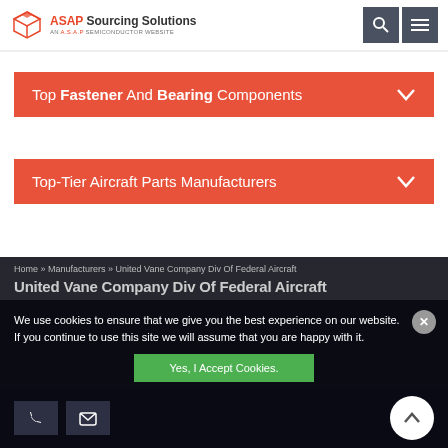[Figure (logo): ASAP Sourcing Solutions logo with box icon and text 'AN A.S.A.P SEMICONDUCTOR WEBSITE']
Top Fastener And Bearing Components
Top-Tier Aircraft Parts Manufacturers
Home » Manufacturers » United Vane Company Div Of Federal Aircraft
United Vane Company Div Of Federal Aircraft
We use cookies to ensure that we give you the best experience on our website. If you continue to use this site we will assume that you are happy with it.
Yes, I Accept Cookies.